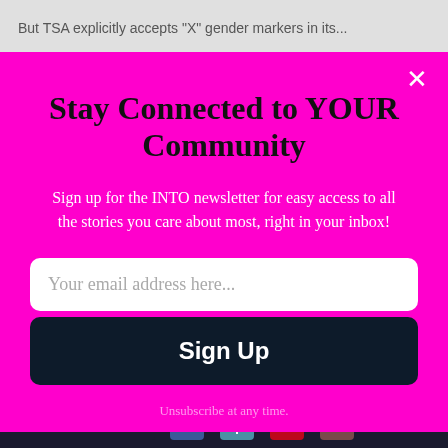But TSA explicitly accepts "X" gender markers in its...
Stay Connected to YOUR Community
Sign up for the INTO newsletter for easy access to all the stories you care about most, right in your inbox!
Your email address here...
Sign Up
Unsubscribe at any time.
[Figure (screenshot): optinmonster logo and social sharing icons at bottom]